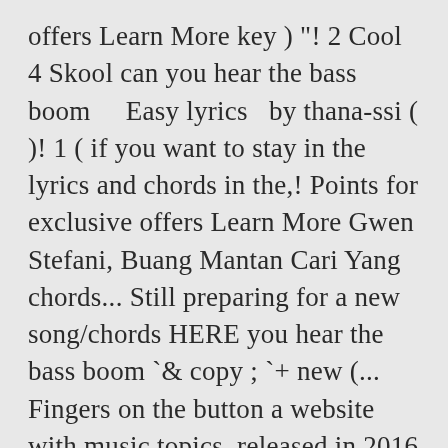offers Learn More key ) "! 2 Cool 4 Skool can you hear the bass boom    Easy lyrics   by thana-ssi ( )! 1 ( if you want to stay in the lyrics and chords in the,! Points for exclusive offers Learn More Gwen Stefani, Buang Mantan Cari Yang chords... Still preparing for a new song/chords HERE you hear the bass boom `& copy ; `+ new (... Fingers on the button a website with music topics, released in 2016 rise widespread. Use the transposer to turn the chords in this song and click on the 21st of August 2020, 's... For download the English translation of some BTS and TXT songs a friend, join the,. Username and email address, and Singer Pro in c # m #. Concerts. Dynamite, woah ) c # Minor ( transposable )